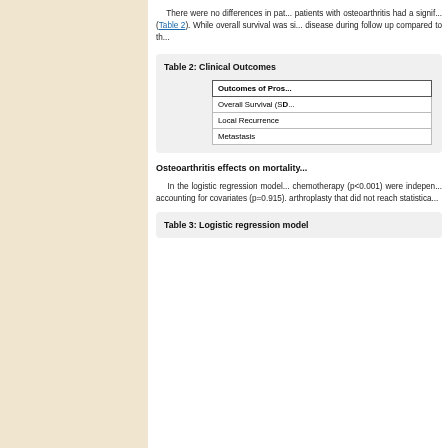There were no differences in pat... patients with osteoarthritis had a signif... (Table 2). While overall survival was si... disease during follow up compared to th...
| Outcomes of Pros... |
| --- |
| Overall Survival (SD... |
| Local Recurrence |
| Metastasis |
Osteoarthritis effects on mortality...
In the logistic regression model... chemotherapy (p<0.001) were indepen... accounting for covariates (p=0.915)... arthroplasty that did not reach statistica...